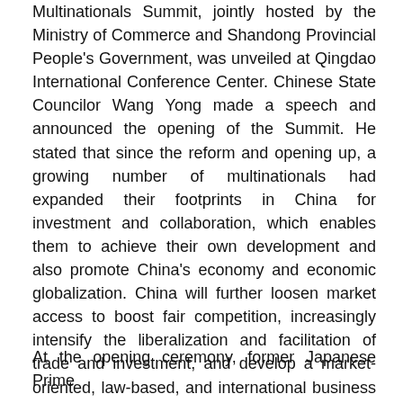Multinationals Summit, jointly hosted by the Ministry of Commerce and Shandong Provincial People's Government, was unveiled at Qingdao International Conference Center. Chinese State Councilor Wang Yong made a speech and announced the opening of the Summit. He stated that since the reform and opening up, a growing number of multinationals had expanded their footprints in China for investment and collaboration, which enables them to achieve their own development and also promote China's economy and economic globalization. China will further loosen market access to boost fair competition, increasingly intensify the liberalization and facilitation of trade and investment, and develop a market-oriented, law-based, and international business environment.
At the opening ceremony, former Japanese Prime